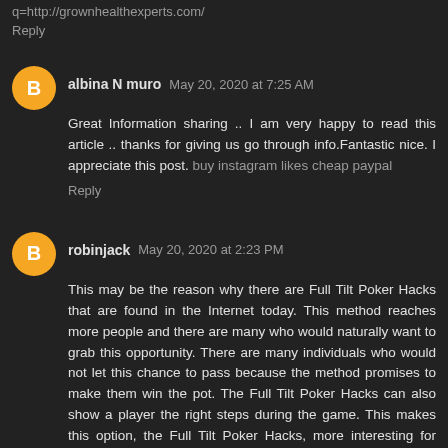q=http://grownhealthexperts.com/
Reply
albina N muro  May 20, 2020 at 7:25 AM
Great Information sharing .. I am very happy to read this article .. thanks for giving us go through info.Fantastic nice. I appreciate this post. buy instagram likes cheap paypal
Reply
robinjack  May 20, 2020 at 2:23 PM
This may be the reason why there are Full Tilt Poker Hacks that are found in the Internet today. This method reaches more people and there are many who would naturally want to grab this opportunity. There are many individuals who would not let this chance to pass because the method promises to make them win the pot. The Full Tilt Poker Hacks can also show a player the right steps during the game. This makes this option, the Full Tilt Poker Hacks, more interesting for many players.  This article